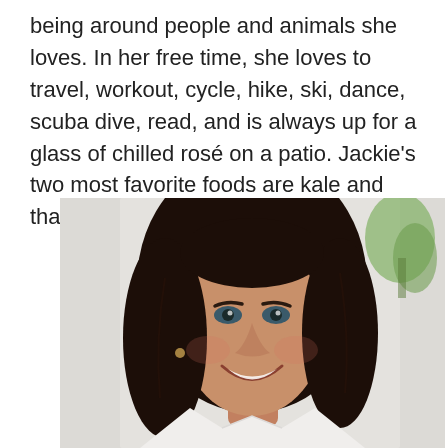being around people and animals she loves. In her free time, she loves to travel, workout, cycle, hike, ski, dance, scuba dive, read, and is always up for a glass of chilled rosé on a patio. Jackie's two most favorite foods are kale and thai spring rolls.
[Figure (photo): Professional headshot of a smiling woman with long dark hair wearing a white shirt, photographed against a bright white background with a blurred green plant visible to the upper right.]